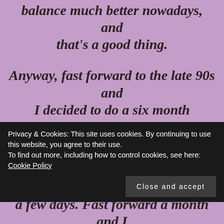balance much better nowadays, and that's a good thing.
Anyway, fast forward to the late 90s and I decided to do a six month advanced creative writing course at my local college. I was on the National Crime Squad then as a detective sergeant with hair halfway down my back so presented myself as a bricklayer, praying that there wouldn't be a real
a few days. Fast forward a month and I
Privacy & Cookies: This site uses cookies. By continuing to use this website, you agree to their use.
To find out more, including how to control cookies, see here: Cookie Policy
Close and accept